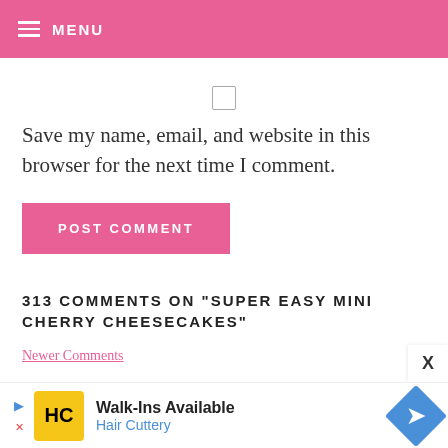MENU
Save my name, email, and website in this browser for the next time I comment.
POST COMMENT
313 COMMENTS ON “SUPER EASY MINI CHERRY CHEESECAKES”
Newer Comments
[Figure (screenshot): Advertisement banner: Walk-Ins Available, Hair Cuttery]